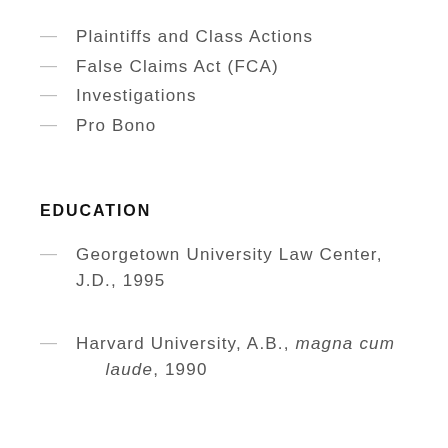Plaintiffs and Class Actions
False Claims Act (FCA)
Investigations
Pro Bono
EDUCATION
Georgetown University Law Center, J.D., 1995
Harvard University, A.B., magna cum laude, 1990